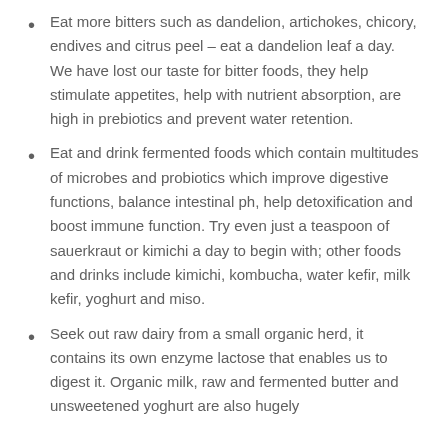Eat more bitters such as dandelion, artichokes, chicory, endives and citrus peel – eat a dandelion leaf a day. We have lost our taste for bitter foods, they help stimulate appetites, help with nutrient absorption, are high in prebiotics and prevent water retention.
Eat and drink fermented foods which contain multitudes of microbes and probiotics which improve digestive functions, balance intestinal ph, help detoxification and boost immune function. Try even just a teaspoon of sauerkraut or kimichi a day to begin with; other foods and drinks include kimichi, kombucha, water kefir, milk kefir, yoghurt and miso.
Seek out raw dairy from a small organic herd, it contains its own enzyme lactose that enables us to digest it. Organic milk, raw and fermented butter and unsweetened yoghurt are also hugely...